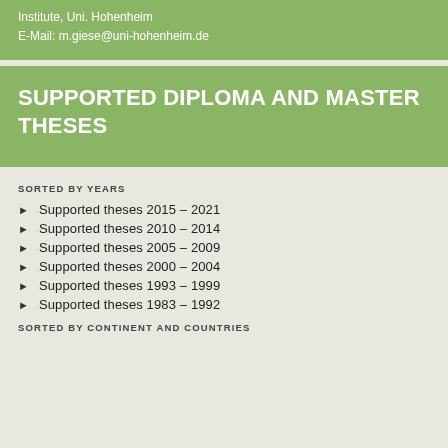Institute, Uni. Hohenheim
E-Mail: m.giese@uni-hohenheim.de
SUPPORTED DIPLOMA AND MASTER THESES
SORTED BY YEARS
Supported theses 2015 – 2021
Supported theses 2010 – 2014
Supported theses 2005 – 2009
Supported theses 2000 – 2004
Supported theses 1993 – 1999
Supported theses 1983 – 1992
SORTED BY CONTINENT AND COUNTRIES